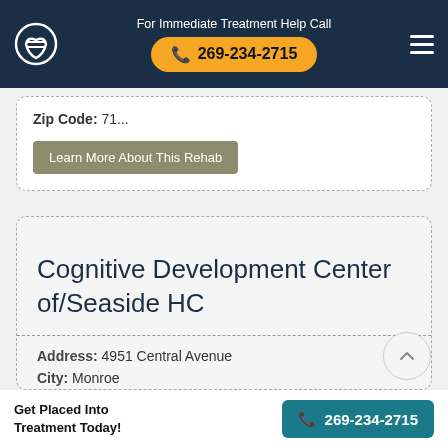For Immediate Treatment Help Call 269-234-2715
Zip Code: 71...
Learn More About This Rehab
Cognitive Development Center of/Seaside HC
Address: 4951 Central Avenue
City: Monroe
State: LA
Get Placed Into Treatment Today! 269-234-2715